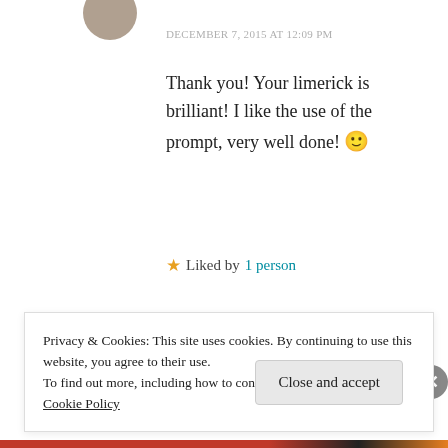[Figure (photo): Circular avatar/profile photo at top of comment, partially cropped]
DECEMBER 7, 2015 AT 12:09 PM
Thank you! Your limerick is brilliant! I like the use of the prompt, very well done! 🙂
★ Liked by 1 person
REPLY
[Figure (photo): Second circular avatar/profile photo, partially visible]
Privacy & Cookies: This site uses cookies. By continuing to use this website, you agree to their use.
To find out more, including how to control cookies, see here: Cookie Policy
Close and accept